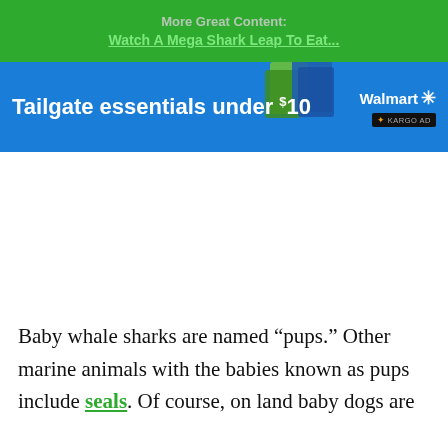More Great Content: Watch A Mega Shark Leap To Eat...
[Figure (screenshot): Walmart advertisement banner: Tailgate essentials under $10, with product images and Walmart logo with Kargo AD badge]
Baby whale sharks are named “pups.” Other marine animals with the babies known as pups include seals. Of course, on land baby dogs are